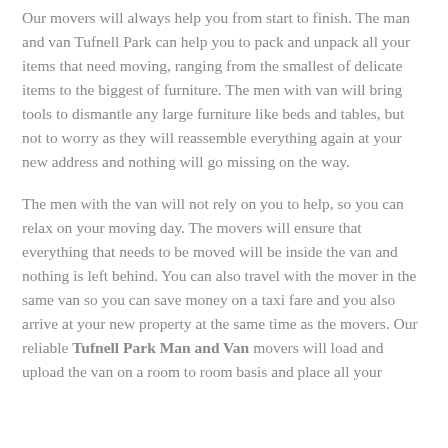Our movers will always help you from start to finish. The man and van Tufnell Park can help you to pack and unpack all your items that need moving, ranging from the smallest of delicate items to the biggest of furniture. The men with van will bring tools to dismantle any large furniture like beds and tables, but not to worry as they will reassemble everything again at your new address and nothing will go missing on the way.
The men with the van will not rely on you to help, so you can relax on your moving day. The movers will ensure that everything that needs to be moved will be inside the van and nothing is left behind. You can also travel with the mover in the same van so you can save money on a taxi fare and you also arrive at your new property at the same time as the movers. Our reliable Tufnell Park Man and Van movers will load and upload the van on a room to room basis and place all your